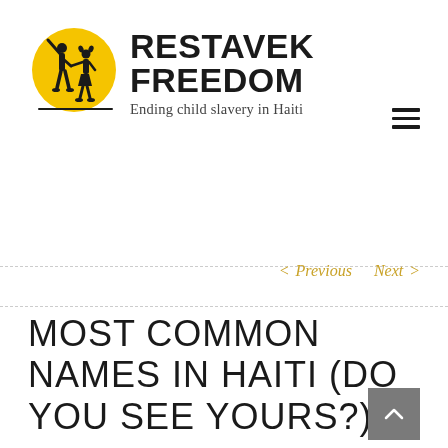[Figure (logo): Restavek Freedom logo: yellow circle with black silhouettes of two children holding hands, one with arm raised. Text reads 'RESTAVEK FREEDOM' in bold with subtitle 'Ending child slavery in Haiti']
[Figure (other): Hamburger menu icon (three horizontal lines) in top right corner]
< Previous   Next >
MOST COMMON NAMES IN HAITI (DO YOU SEE YOURS?)
[Figure (other): Scroll-to-top button: grey square with upward-pointing chevron]